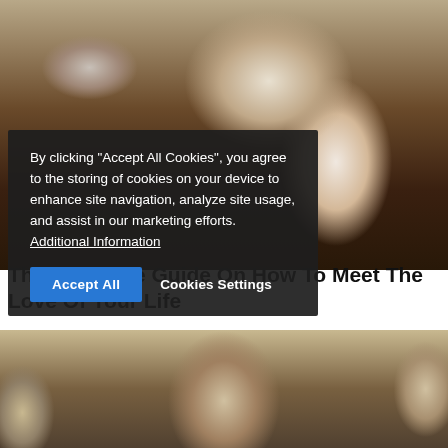[Figure (photo): Two people in an intimate moment outdoors near a brick wall, one with grey/white hair leaning toward another person with dark hair]
The Soulmate Guide On How To Meet The Love Of Your Life
By clicking "Accept All Cookies", you agree to the storing of cookies on your device to enhance site navigation, analyze site usage, and assist in our marketing efforts. Additional Information
Accept All   Cookies Settings
[Figure (photo): Young man with dark slicked-back hair in a light beige/tan jacket, outdoors with blurred background]